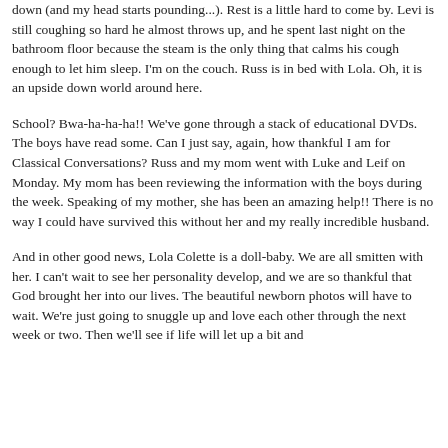down (and my head starts pounding...). Rest is a little hard to come by. Levi is still coughing so hard he almost throws up, and he spent last night on the bathroom floor because the steam is the only thing that calms his cough enough to let him sleep. I'm on the couch. Russ is in bed with Lola. Oh, it is an upside down world around here.
School? Bwa-ha-ha-ha!! We've gone through a stack of educational DVDs. The boys have read some. Can I just say, again, how thankful I am for Classical Conversations? Russ and my mom went with Luke and Leif on Monday. My mom has been reviewing the information with the boys during the week. Speaking of my mother, she has been an amazing help!! There is no way I could have survived this without her and my really incredible husband.
And in other good news, Lola Colette is a doll-baby. We are all smitten with her. I can't wait to see her personality develop, and we are so thankful that God brought her into our lives. The beautiful newborn photos will have to wait. We're just going to snuggle up and love each other through the next week or two. Then we'll see if life will let up a bit and